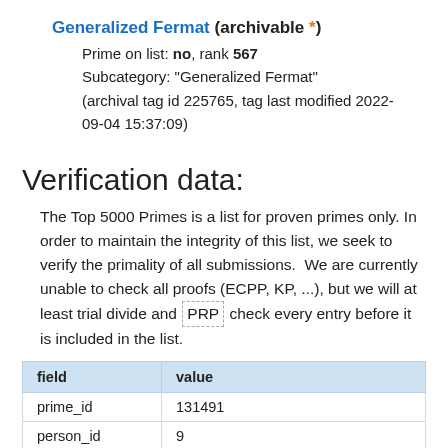Generalized Fermat (archivable *)
Prime on list: no, rank 567
Subcategory: "Generalized Fermat"
(archival tag id 225765, tag last modified 2022-09-04 15:37:09)
Verification data:
The Top 5000 Primes is a list for proven primes only. In order to maintain the integrity of this list, we seek to verify the primality of all submissions.  We are currently unable to check all proofs (ECPP, KP, ...), but we will at least trial divide and PRP check every entry before it is included in the list.
| field | value |
| --- | --- |
| prime_id | 131491 |
| person_id | 9 |